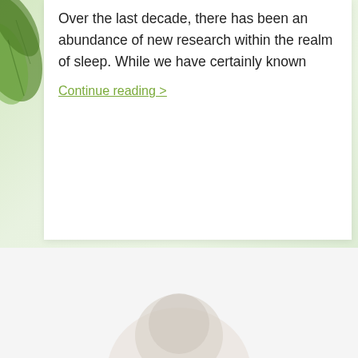[Figure (photo): Green leaf background on the left side of the page and a light green gradient background filling the upper portion of the page]
Over the last decade, there has been an abundance of new research within the realm of sleep. While we have certainly known
Continue reading >
[Figure (photo): Faint image of a person's head/face visible at the bottom of the page against a light background]